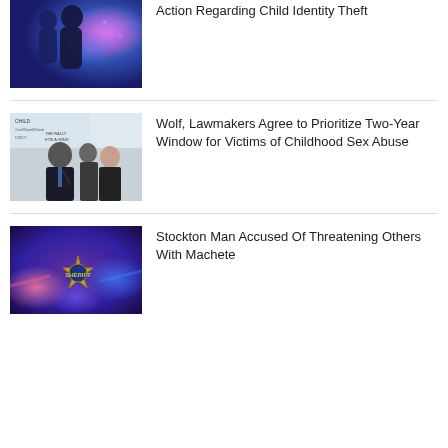[Figure (photo): Silhouettes of two children against a blue/purple glowing background]
Action Regarding Child Identity Theft
[Figure (photo): Press conference photo with man in suit at podium and woman behind, banner reads CHILD and THE RALLY FOR A WIND]
Wolf, Lawmakers Agree to Prioritize Two-Year Window for Victims of Childhood Sex Abuse
[Figure (photo): Sheriff badge star against purple/blue police lights background]
Stockton Man Accused Of Threatening Others With Machete